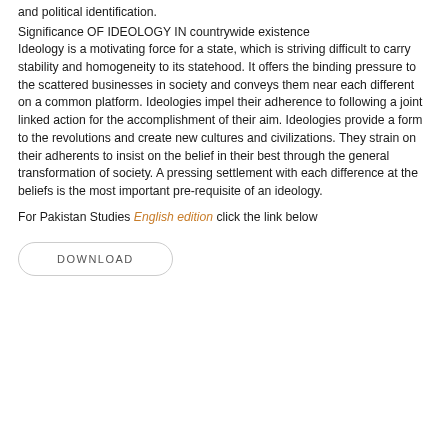and political identification.
Significance OF IDEOLOGY IN countrywide existence
Ideology is a motivating force for a state, which is striving difficult to carry stability and homogeneity to its statehood. It offers the binding pressure to the scattered businesses in society and conveys them near each different on a common platform. Ideologies impel their adherence to following a joint linked action for the accomplishment of their aim. Ideologies provide a form to the revolutions and create new cultures and civilizations. They strain on their adherents to insist on the belief in their best through the general transformation of society. A pressing settlement with each difference at the beliefs is the most important pre-requisite of an ideology.
For Pakistan Studies English edition click the link below
DOWNLOAD